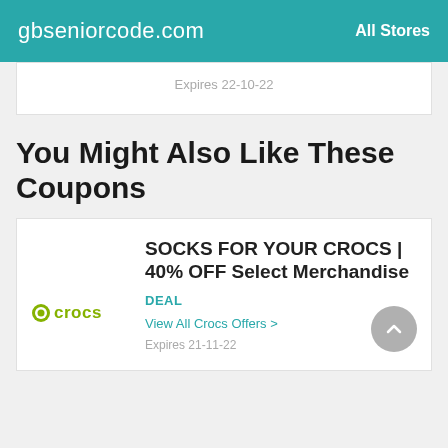gbseniorcode.com | All Stores
Expires 22-10-22
You Might Also Like These Coupons
SOCKS FOR YOUR CROCS | 40% OFF Select Merchandise
DEAL
View All Crocs Offers >
Expires 21-11-22